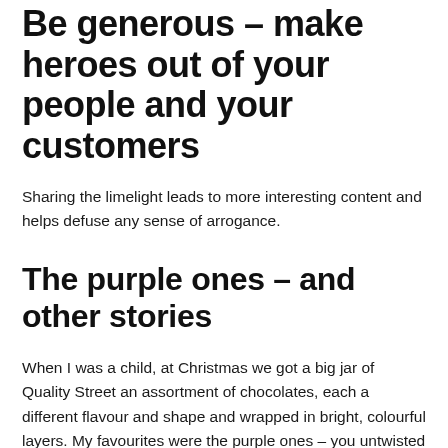Be generous – make heroes out of your people and your customers
Sharing the limelight leads to more interesting content and helps defuse any sense of arrogance.
The purple ones – and other stories
When I was a child, at Christmas we got a big jar of Quality Street an assortment of chocolates, each a different flavour and shape and wrapped in bright, colourful layers. My favourites were the purple ones – you untwisted the cellophane wrapper, unwrapped the tin foil and the chocolate smelled of vanilla. When you bit through the oozing caramel